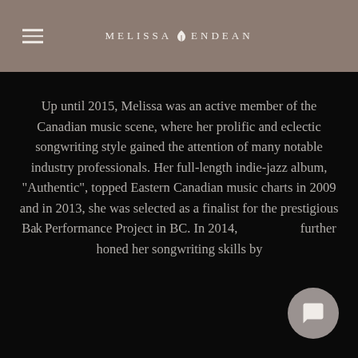Melissa Endean
Up until 2015, Melissa was an active member of the Canadian music scene, where her prolific and eclectic songwriting style gained the attention of many notable industry professionals. Her full-length indie-jazz album, "Authentic", topped Eastern Canadian music charts in 2009 and in 2013, she was selected as a finalist for the prestigious Bak Performance Project in BC. In 2014, she further honed her songwriting skills by